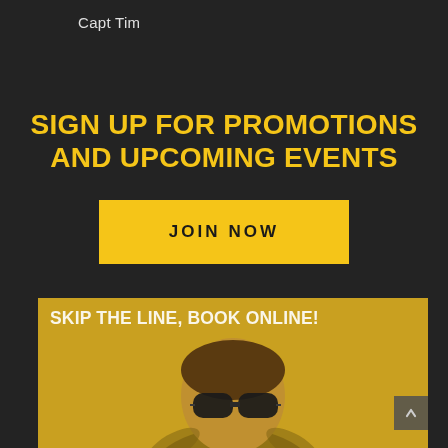Capt Tim
SIGN UP FOR PROMOTIONS AND UPCOMING EVENTS
JOIN NOW
[Figure (photo): Promotional banner image with golden/yellow background showing a woman wearing large sunglasses with text 'SKIP THE LINE, BOOK ONLINE!' overlaid in white at the top]